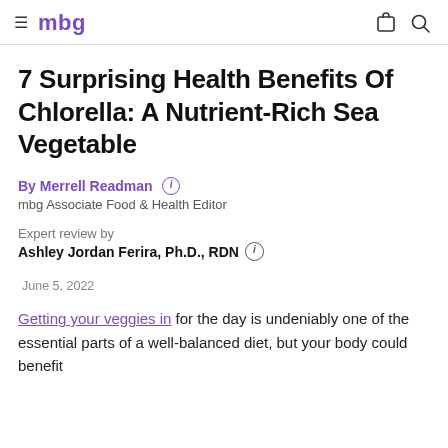mbg
7 Surprising Health Benefits Of Chlorella: A Nutrient-Rich Sea Vegetable
By Merrell Readman
mbg Associate Food & Health Editor
Expert review by
Ashley Jordan Ferira, Ph.D., RDN
June 5, 2022
Getting your veggies in for the day is undeniably one of the essential parts of a well-balanced diet, but your body could benefit